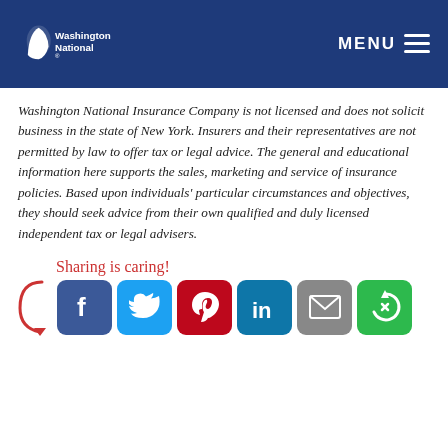Washington National | MENU
Washington National Insurance Company is not licensed and does not solicit business in the state of New York. Insurers and their representatives are not permitted by law to offer tax or legal advice. The general and educational information here supports the sales, marketing and service of insurance policies. Based upon individuals' particular circumstances and objectives, they should seek advice from their own qualified and duly licensed independent tax or legal advisers.
[Figure (infographic): Sharing is caring! social sharing icons for Facebook, Twitter, Pinterest, LinkedIn, Email, and More Options with a red arrow pointing to the icons]